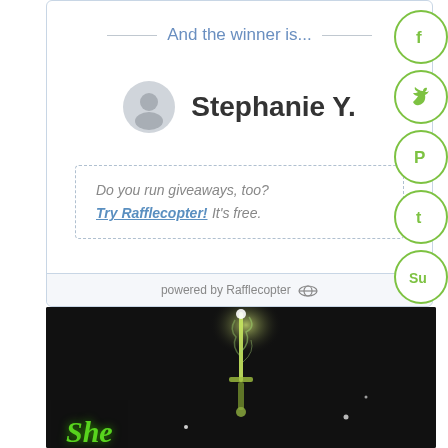And the winner is...
Stephanie Y.
Do you run giveaways, too? Try Rafflecopter! It's free.
powered by Rafflecopter
[Figure (photo): Book cover with glowing sword and green cursive title text on dark background]